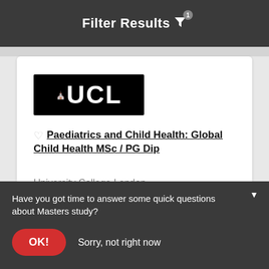Filter Results
[Figure (logo): UCL (University College London) logo — white text on black background]
Paediatrics and Child Health: Global Child Health MSc / PG Dip
University College London
Have you got time to answer some quick questions about Masters study?
OK!
Sorry, not right now